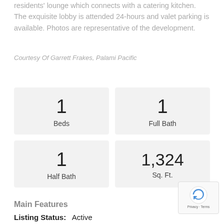residents' lounge which connects with a catering kitchen. The exquisite lobby is attended 24-hours and valet parking is available. Photos are representative of the development.
Courtesy Of Garrett Frakes, Palami Pacific
| 1 Beds | 1 Full Bath |
| 1 Half Bath | 1,324 Sq. Ft. |
Main Features
Listing Status:   Active